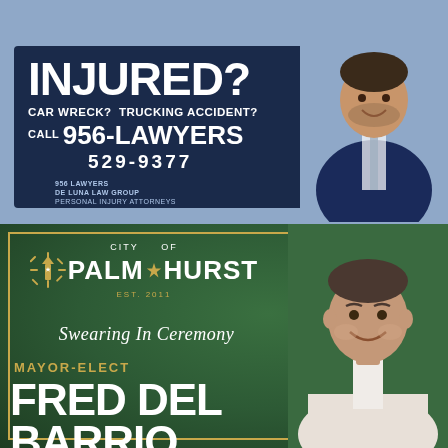[Figure (infographic): De Luna Law Group advertisement: 'INJURED? CAR WRECK? TRUCKING ACCIDENT? CALL 956-LAWYERS 529-9377' with lawyer photo and DELUNA logo]
[Figure (infographic): City of Palmhurst Swearing In Ceremony announcement for Mayor-Elect Fred Del Barrio with green background and gold border]